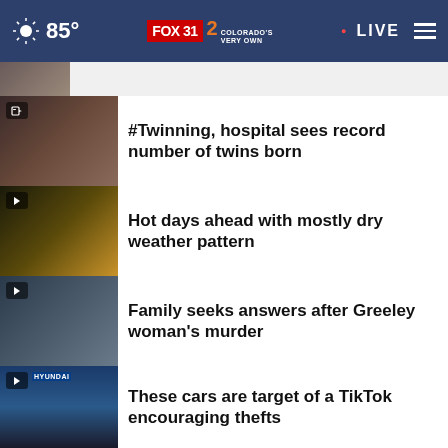85° FOX 31 2 COLORADO'S VERY OWN • LIVE
[Figure (screenshot): Partial news story thumbnail at top]
#Twinning, hospital sees record number of twins born
Hot days ahead with mostly dry weather pattern
Family seeks answers after Greeley woman's murder
These cars are target of a TikTok encouraging thefts
More Stories ›
[Figure (infographic): Ad banner: BELONGING BEGINS WITH US - Ad Council]